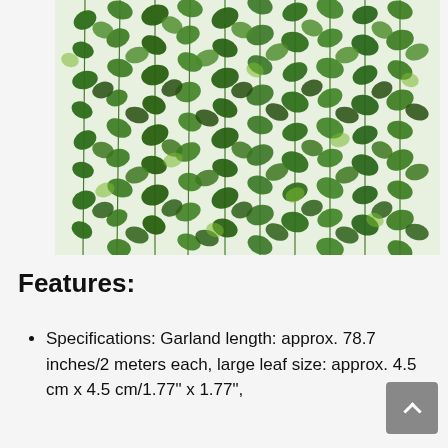[Figure (photo): Photo of multiple strands of artificial ivy/green leaf garlands hanging vertically against a white background, showing dense green leaves on wire stems.]
Features:
Specifications: Garland length: approx. 78.7 inches/2 meters each, large leaf size: approx. 4.5 cm x 4.5 cm/1.77" x 1.77",